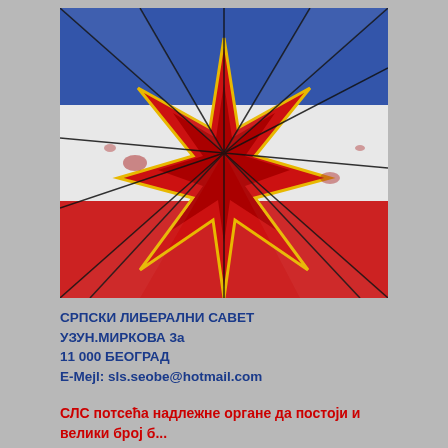[Figure (photo): A Yugoslav flag (blue, white, red horizontal stripes) with a red communist star in the center, shattered like broken glass with crack lines radiating from the star outward.]
СРПСКИ ЛИБЕРАЛНИ САВЕТ
УЗУН.МИРКОВА 3а
11 000 БЕОГРАД
E-Mejl: sls.seobe@hotmail.com
СЛС потсећа надлежне органе да постоји и велики број б...